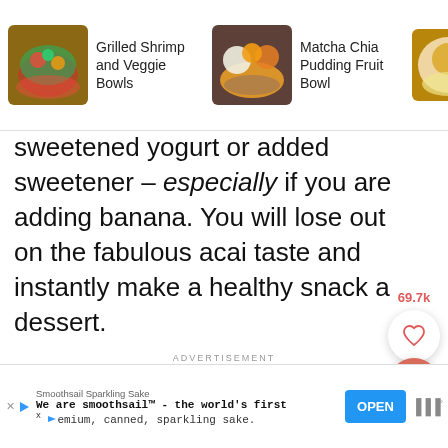[Figure (screenshot): Top navigation bar showing recipe thumbnails: Grilled Shrimp and Veggie Bowls, Matcha Chia Pudding Fruit Bowl, and partially visible Banana Mango Smoothie with a search icon overlay]
sweetened yogurt or added sweetener – especially if you are adding banana. You will lose out on the fabulous acai taste and instantly make a healthy snack a dessert.
Add some tropical flavor by blending with frozen mango or papaya.
[Figure (infographic): 69.7k likes count with heart icon button (white circle) and search button (salmon/red circle) on the right side]
ADVERTISEMENT
[Figure (screenshot): Advertisement banner: Smoothsail Sparkling Sake – We are smoothsail – the world's first premium, canned, sparkling sake. With OPEN button and logo.]